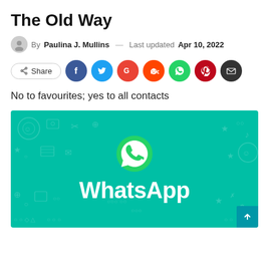The Old Way
By Paulina J. Mullins — Last updated Apr 10, 2022
[Figure (infographic): Share buttons row: Share button, Facebook, Twitter, Google, Reddit, WhatsApp, Pinterest, Email social media icons]
No to favourites; yes to all contacts
[Figure (illustration): WhatsApp branded banner with teal background, decorative icon pattern, WhatsApp logo (green speech bubble with phone handset) and WhatsApp wordmark in white text]